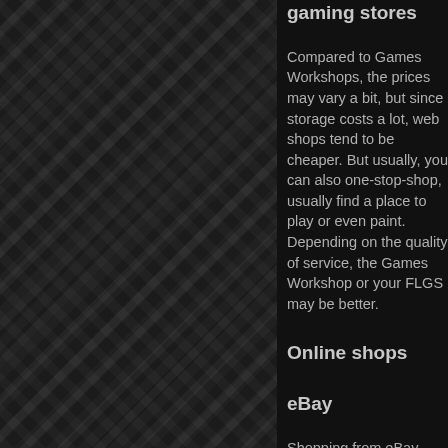gaming stores
Compared to Games Workshops, the prices may vary a bit, but since storage costs a lot, web shops tend to be cheaper. But usually, you can also one-stop-shop, usually find a place to play or even paint. Depending on the quality of service, the Games Workshop or your FLGS may be better.
Online shops
eBay
Shopping from eBay may include two things: Either buying new stuff. This means eBay-shops, which are the same as other web shops. Some are